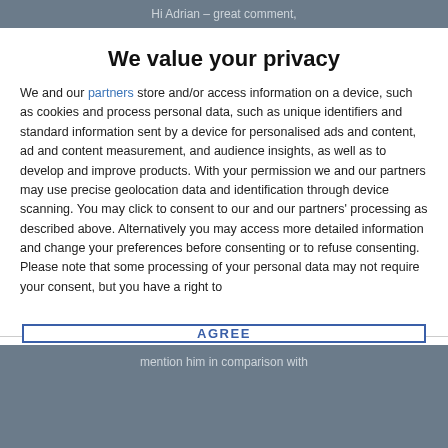Hi Adrian – great comment,
We value your privacy
We and our partners store and/or access information on a device, such as cookies and process personal data, such as unique identifiers and standard information sent by a device for personalised ads and content, ad and content measurement, and audience insights, as well as to develop and improve products. With your permission we and our partners may use precise geolocation data and identification through device scanning. You may click to consent to our and our partners' processing as described above. Alternatively you may access more detailed information and change your preferences before consenting or to refuse consenting. Please note that some processing of your personal data may not require your consent, but you have a right to
AGREE
MORE OPTIONS
mention him in comparison with